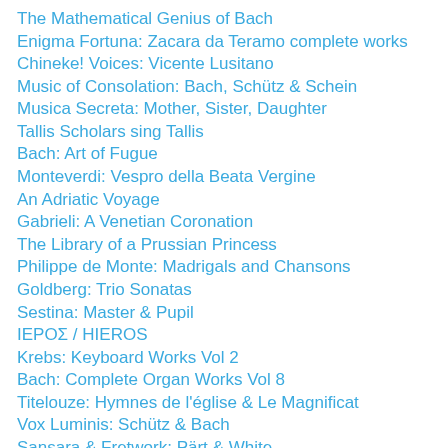The Mathematical Genius of Bach
Enigma Fortuna: Zacara da Teramo complete works
Chineke! Voices: Vicente Lusitano
Music of Consolation: Bach, Schütz & Schein
Musica Secreta: Mother, Sister, Daughter
Tallis Scholars sing Tallis
Bach: Art of Fugue
Monteverdi: Vespro della Beata Vergine
An Adriatic Voyage
Gabrieli: A Venetian Coronation
The Library of a Prussian Princess
Philippe de Monte: Madrigals and Chansons
Goldberg: Trio Sonatas
Sestina: Master & Pupil
ΙΕΡΟΣ / HIEROS
Krebs: Keyboard Works Vol 2
Bach: Complete Organ Works Vol 8
Titelouze: Hymnes de l'église & Le Magnificat
Vox Luminis: Schütz & Bach
Sansara & Fretwork: Pärt & White